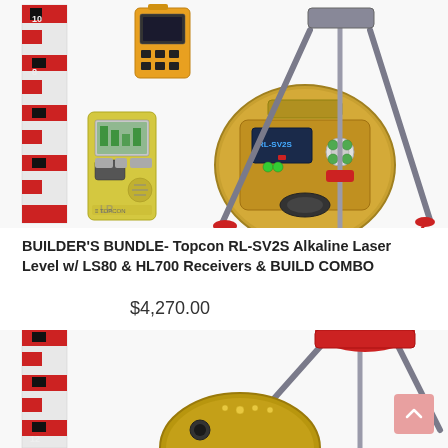[Figure (photo): Product photo showing Topcon RL-SV2S alkaline laser level with LS80 and HL700 receivers, tripod, and grade rod. Yellow laser unit on tripod, two receivers (yellow handheld and orange remote), and red/white grade rod on white background.]
BUILDER'S BUNDLE- Topcon RL-SV2S Alkaline Laser Level w/ LS80 & HL700 Receivers & BUILD COMBO
$4,270.00
[Figure (photo): Second product photo showing bottom portion of similar Topcon laser level setup with gold/bronze colored laser unit on tripod with red top mount, and red/white grade rod, partial view cropped at bottom of page.]